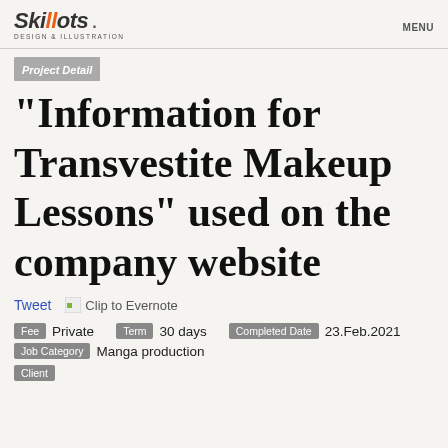[Figure (logo): Skillots Design & Illustration logo with orange double-L]
MENU
Project Detail
"Information for Transvestite Makeup Lessons" used on the company website
Tweet   Clip to Evernote
Fee Private   Term 30 days   Completed Date 23.Feb.2021
Job Category Manga production
Client